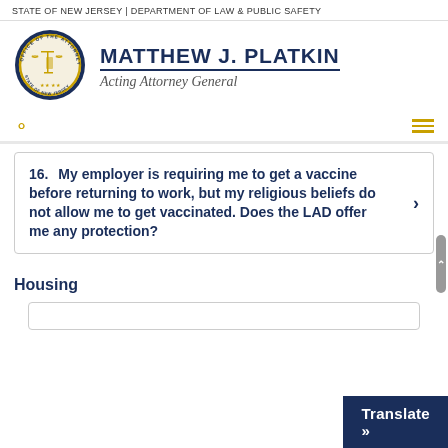STATE OF NEW JERSEY | DEPARTMENT OF LAW & PUBLIC SAFETY
[Figure (logo): Office of the Attorney General seal of New Jersey with scales of justice, circular badge in blue and gold]
MATTHEW J. PLATKIN Acting Attorney General
16. My employer is requiring me to get a vaccine before returning to work, but my religious beliefs do not allow me to get vaccinated. Does the LAD offer me any protection?
Housing
Translate »